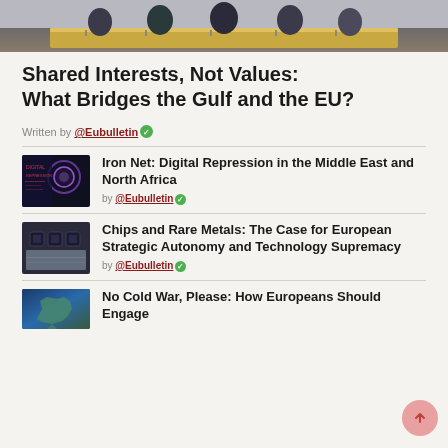[Figure (photo): People seated at a conference table, official setting with EU flag visible in background]
Shared Interests, Not Values: What Bridges the Gulf and the EU?
Written by @Eubulletin
[Figure (photo): Dark background with digital/technology visual, text about digital repression]
Iron Net: Digital Repression in the Middle East and North Africa
by @Eubulletin
[Figure (photo): Chips and rare metals on a display table]
Chips and Rare Metals: The Case for European Strategic Autonomy and Technology Supremacy
by @Eubulletin
[Figure (photo): Map of Europe]
No Cold War, Please: How Europeans Should Engage